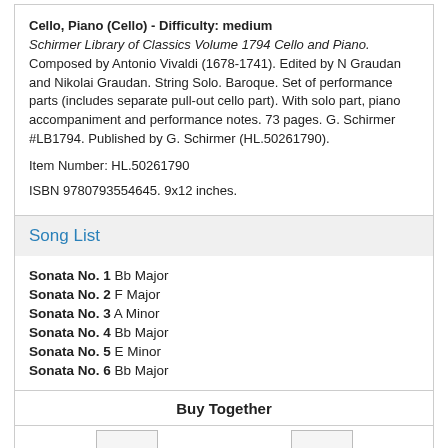Cello, Piano (Cello) - Difficulty: medium Schirmer Library of Classics Volume 1794 Cello and Piano. Composed by Antonio Vivaldi (1678-1741). Edited by N Graudan and Nikolai Graudan. String Solo. Baroque. Set of performance parts (includes separate pull-out cello part). With solo part, piano accompaniment and performance notes. 73 pages. G. Schirmer #LB1794. Published by G. Schirmer (HL.50261790).
Item Number: HL.50261790
ISBN 9780793554645. 9x12 inches.
Song List
Sonata No. 1  Bb Major
Sonata No. 2  F Major
Sonata No. 3  A Minor
Sonata No. 4  Bb Major
Sonata No. 5  E Minor
Sonata No. 6  Bb Major
Buy Together